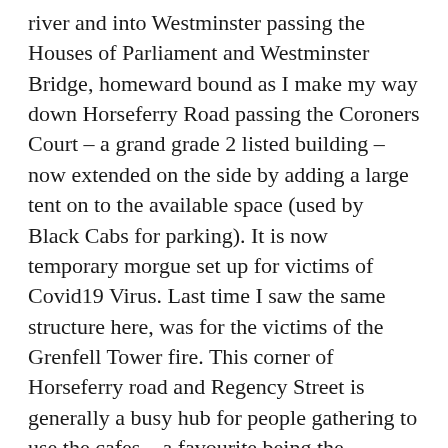river and into Westminster passing the Houses of Parliament and Westminster Bridge, homeward bound as I make my way down Horseferry Road passing the Coroners Court – a grand grade 2 listed building – now extended on the side by adding a large tent on to the available space (used by Black Cabs for parking). It is now temporary morgue set up for victims of Covid19 Virus. Last time I saw the same structure here, was for the victims of the Grenfell Tower fire. This corner of Horseferry road and Regency Street is generally a busy hub for people gathering to use the cafes – a favourite being the Regency Cafe a throwback to the Forties – a meeting point for black cabs drivers and locals alike all silent and void of people now. Not far to go, another few minutes walking and I'm home. I am asthmatic and should not be out or have any